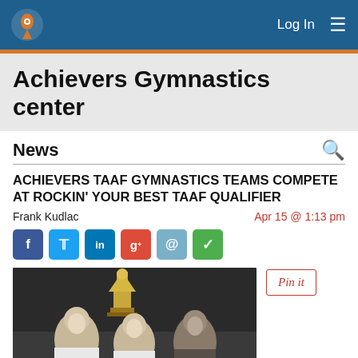Achievers Gymnastics center — navigation bar with logo, Log In, menu
Achievers Gymnastics center
News
ACHIEVERS TAAF GYMNASTICS TEAMS COMPETE AT ROCKIN' YOUR BEST TAAF QUALIFIER
Frank Kudlac    Apr 15 @ 1:13 pm
[Figure (other): Social share buttons: Facebook, Twitter, LinkedIn, Google+, Email, Checkmark]
[Figure (photo): Three young female gymnasts smiling and holding a trophy together indoors]
[Figure (other): Pin it button]